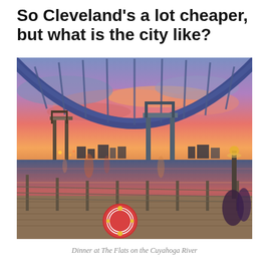So Cleveland's a lot cheaper, but what is the city like?
[Figure (photo): Sunset view from a waterfront deck at The Flats on the Cuyahoga River in Cleveland. A large blue steel arch bridge spans overhead. Industrial lift bridges are visible in the background against a vivid pink and purple sky. A red life preserver ring hangs on the railing in the foreground. City lights reflect off the water.]
Dinner at The Flats on the Cuyahoga River